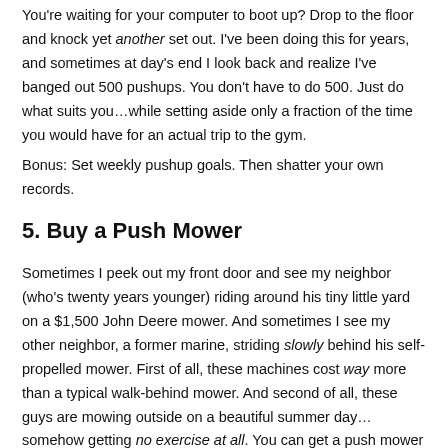You're waiting for your computer to boot up? Drop to the floor and knock yet another set out. I've been doing this for years, and sometimes at day's end I look back and realize I've banged out 500 pushups. You don't have to do 500. Just do what suits you…while setting aside only a fraction of the time you would have for an actual trip to the gym.
Bonus: Set weekly pushup goals. Then shatter your own records.
5. Buy a Push Mower
Sometimes I peek out my front door and see my neighbor (who's twenty years younger) riding around his tiny little yard on a $1,500 John Deere mower. And sometimes I see my other neighbor, a former marine, striding slowly behind his self-propelled mower. First of all, these machines cost way more than a typical walk-behind mower. And second of all, these guys are mowing outside on a beautiful summer day… somehow getting no exercise at all. You can get a push mower for $150-$300. Slap on a mulcher (bagging your grass will slow you down) and get going! Studies show that with a medium-sized lawn, you can